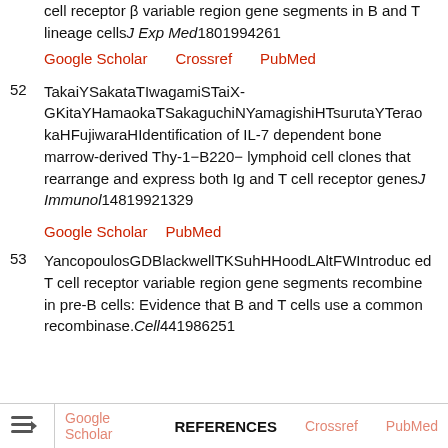cell receptor β variable region gene segments in B and T lineage cells J Exp Med 180 1994 261
Google Scholar   Crossref   PubMed
52  TakaiYSakataTIwagamiSTaiX-GKitaYHamaokaTSakaguchiNYamagishiHTsurutaYTerao kaHFujiwaraHIdentification of IL-7 dependent bone marrow-derived Thy-1−B220− lymphoid cell clones that rearrange and express both Ig and T cell receptor genes J Immunol 148 1992 1329
Google Scholar   PubMed
53  YancopoulosGDBlackwellTKSuhHHoodLAltFWIntroduced T cell receptor variable region gene segments recombine in pre-B cells: Evidence that B and T cells use a common recombinase. Cell 44 1986 251
Google Scholar   Crossref   PubMed   REFERENCES